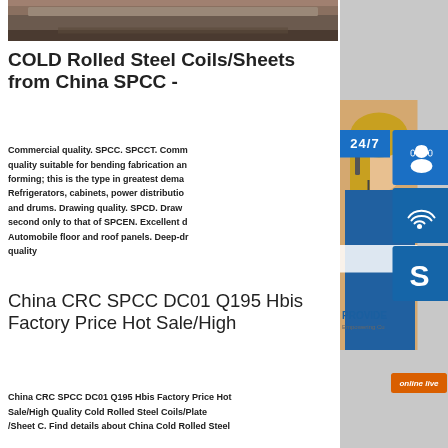[Figure (photo): Product photo of cold rolled steel coils/sheets, dark brownish tones]
COLD Rolled Steel Coils/Sheets from China SPCC -
Commercial quality. SPCC. SPCCT. Commercial quality suitable for bending fabrication and forming; this is the type in greatest demand. Refrigerators, cabinets, power distribution and drums. Drawing quality. SPCD. Drawing second only to that of SPCEN. Excellent Automobile floor and roof panels. Deep-drawing quality
China CRC SPCC DC01 Q195 Hbis Factory Price Hot Sale/High
China CRC SPCC DC01 Q195 Hbis Factory Price Hot Sale/High Quality Cold Rolled Steel Coils/Plate /Sheet C. Find details about China Cold Rolled Steel
[Figure (infographic): Sidebar with customer service icons: 24/7 label, headset icon, phone icon, Skype icon, and online live button with PROVIDE Empowering Customers text and a customer service photo]